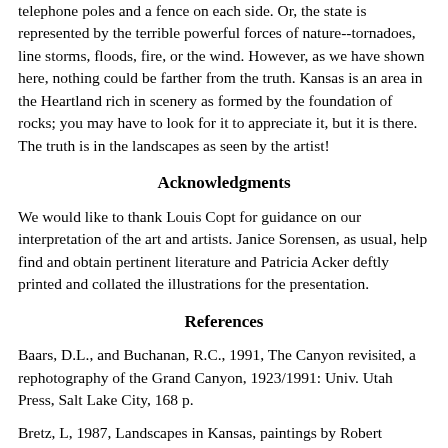telephone poles and a fence on each side. Or, the state is represented by the terrible powerful forces of nature--tornadoes, line storms, floods, fire, or the wind. However, as we have shown here, nothing could be farther from the truth. Kansas is an area in the Heartland rich in scenery as formed by the foundation of rocks; you may have to look for it to appreciate it, but it is there. The truth is in the landscapes as seen by the artist!
Acknowledgments
We would like to thank Louis Copt for guidance on our interpretation of the art and artists. Janice Sorensen, as usual, help find and obtain pertinent literature and Patricia Acker deftly printed and collated the illustrations for the presentation.
References
Baars, D.L., and Buchanan, R.C., 1991, The Canyon revisited, a rephotography of the Grand Canyon, 1923/1991: Univ. Utah Press, Salt Lake City, 168 p.
Bretz, L, 1987, Landscapes in Kansas, paintings by Robert Sudlow: Univ. Press Kansas, Lawrence, unpaginated.
Charlton, J., and Merriam, D.F., 2003, Ever changing landscape: